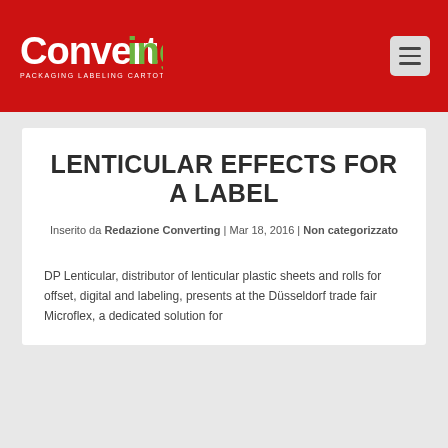[Figure (logo): Converting magazine logo — white bold text 'Converting' with green 'ing' suffix, subtitle 'PACKAGING LABELING CARTOTECNICA', on red background]
Converting | Packaging Labeling Cartotecnica
LENTICULAR EFFECTS FOR A LABEL
Inserito da Redazione Converting | Mar 18, 2016 | Non categorizzato
DP Lenticular, distributor of lenticular plastic sheets and rolls for offset, digital and labeling, presents at the Düsseldorf trade fair Microflex, a dedicated solution for